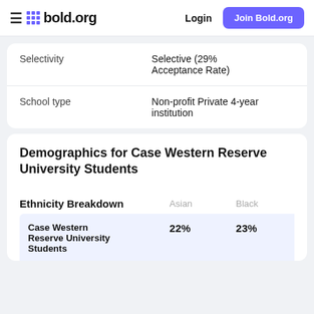bold.org | Login | Join Bold.org
|  |  |
| --- | --- |
| Selectivity | Selective (29% Acceptance Rate) |
| School type | Non-profit Private 4-year institution |
Demographics for Case Western Reserve University Students
| Ethnicity Breakdown | Asian | Black |
| --- | --- | --- |
| Case Western Reserve University Students | 22% | 23% |